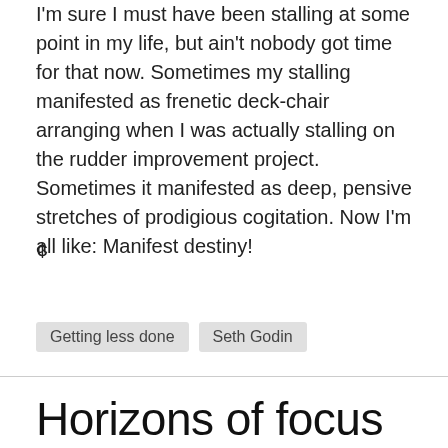I'm sure I must have been stalling at some point in my life, but ain't nobody got time for that now. Sometimes my stalling manifested as frenetic deck-chair arranging when I was actually stalling on the rudder improvement project. Sometimes it manifested as deep, pensive stretches of prodigious cogitation. Now I'm all like: Manifest destiny!
¢
Getting less done   Seth Godin
Horizons of focus